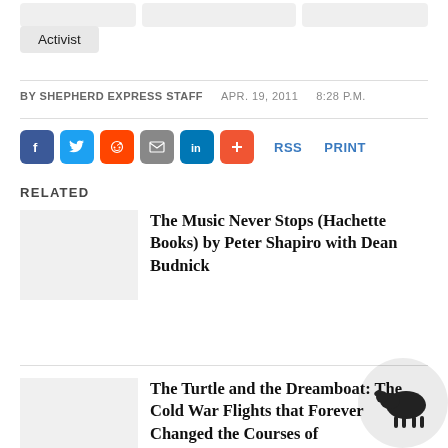Activist
BY SHEPHERD EXPRESS STAFF   APR. 19, 2011   8:28 P.M.
[Figure (other): Social sharing buttons: Facebook, Twitter, Reddit, Email, LinkedIn, plus. RSS and PRINT links.]
RELATED
The Music Never Stops (Hachette Books) by Peter Shapiro with Dean Budnick
The Turtle and the Dreamboat: The Cold War Flights that Forever Changed the Courses of